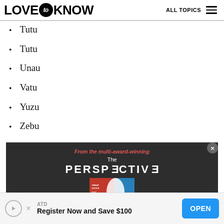LOVE to KNOW   ALL TOPICS
Tutu
Tutu
Unau
Vatu
Yuzu
Zebu
[Figure (screenshot): Advertisement banner: dark background with red italic text 'From the multi-award-winning', white text 'The' and 'PERSPECTIVE' in large bold letters with reversed E, and a partial image of a red and blue book cover at the bottom.]
[Figure (screenshot): Bottom advertisement bar: ATD logo, text 'Register Now and Save $100', blue OPEN button, with play and close icons.]